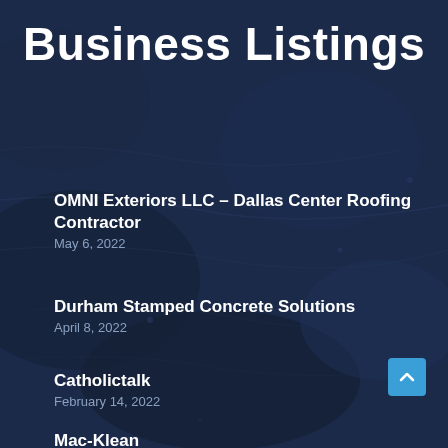Business Listings
OMNI Exteriors LLC – Dallas Center Roofing Contractor
May 6, 2022
Durham Stamped Concrete Solutions
April 8, 2022
Catholictalk
February 14, 2022
Mac-Klean